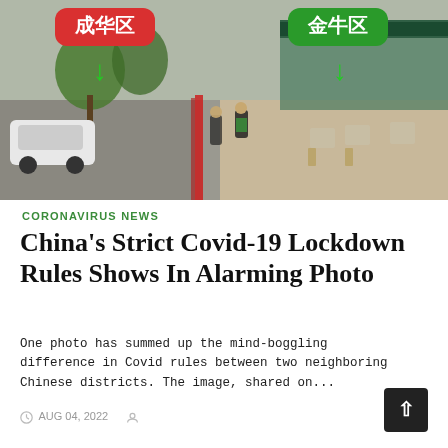[Figure (photo): Street photo showing two neighboring Chinese districts separated by a red line on the sidewalk. Green signs with Chinese characters (成华区 and 金牛区) with green arrows pointing down to each side. People walking and sitting on each side; a white car visible on the left.]
CORONAVIRUS NEWS
China's Strict Covid-19 Lockdown Rules Shows In Alarming Photo
One photo has summed up the mind-boggling difference in Covid rules between two neighboring Chinese districts. The image, shared on...
AUG 04, 2022